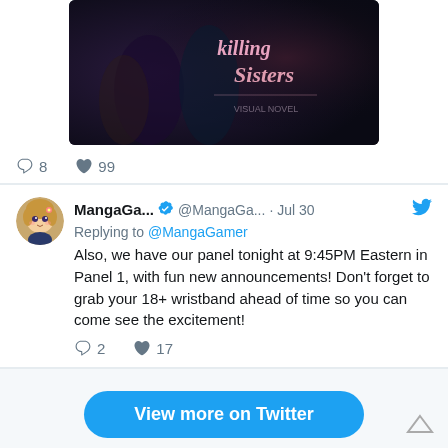[Figure (screenshot): Anime/manga style game promotional image with dark fantasy artwork and stylized title text]
8  99
[Figure (photo): MangaGamer anime avatar - chibi girl character with light brown hair and pink flower]
MangaGa... ✓ @MangaGa... · Jul 30
Replying to @MangaGamer
Also, we have our panel tonight at 9:45PM Eastern in Panel 1, with fun new announcements! Don't forget to grab your 18+ wristband ahead of time so you can come see the excitement!
2  17
View more on Twitter
Learn more about privacy on Twitter